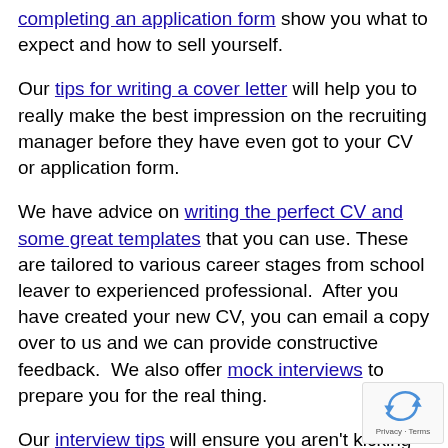completing an application form show you what to expect and how to sell yourself.
Our tips for writing a cover letter will help you to really make the best impression on the recruiting manager before they have even got to your CV or application form.
We have advice on writing the perfect CV and some great templates that you can use. These are tailored to various career stages from school leaver to experienced professional. After you have created your new CV, you can email a copy over to us and we can provide constructive feedback. We also offer mock interviews to prepare you for the real thing.
Our interview tips will ensure you aren't kicking yourself at the end of a real interview due to lack of preparation.